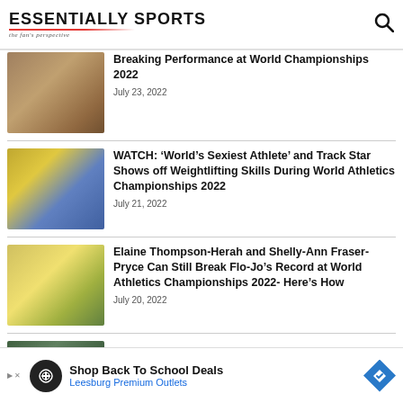ESSENTIALLY SPORTS — the fan's perspective
[Figure (photo): Blurred photo of an athlete at a track event]
Breaking Performance at World Championships 2022
July 23, 2022
[Figure (photo): Blurred photo of a female track athlete]
WATCH: ‘World’s Sexiest Athlete’ and Track Star Shows off Weightlifting Skills During World Athletics Championships 2022
July 21, 2022
[Figure (photo): Blurred photo of athletes celebrating]
Elaine Thompson-Herah and Shelly-Ann Fraser-Pryce Can Still Break Flo-Jo’s Record at World Athletics Championships 2022- Here’s How
July 20, 2022
[Figure (photo): Advertisement banner: Shop Back To School Deals — Leesburg Premium Outlets]